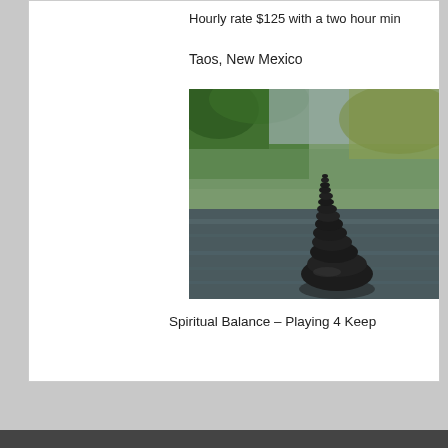Hourly rate $125 with a two hour min
Taos, New Mexico
[Figure (photo): A balanced stack of dark river stones rising from water, with blurred green foliage in the background. The stones form a tall cairn tower emerging from a calm reflective river surface.]
Spiritual Balance – Playing 4 Keep